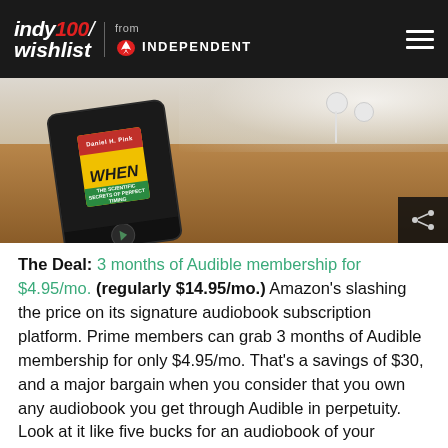indy100/ wishlist from INDEPENDENT
[Figure (photo): A smartphone displaying an audiobook cover for 'WHEN' by Daniel H. Pink on what appears to be an audiobook app, placed on a wooden surface with white earbuds nearby and a light background above.]
The Deal: 3 months of Audible membership for $4.95/mo. (regularly $14.95/mo.) Amazon's slashing the price on its signature audiobook subscription platform. Prime members can grab 3 months of Audible membership for only $4.95/mo. That's a savings of $30, and a major bargain when you consider that you own any audiobook you get through Audible in perpetuity. Look at it like five bucks for an audiobook of your